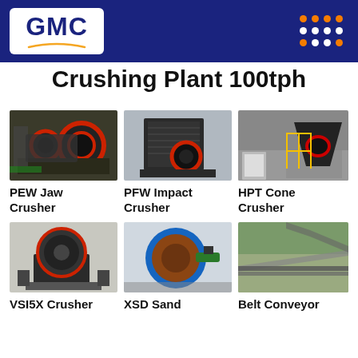[Figure (logo): GMC company logo on dark blue header bar with orange dot grid pattern]
Crushing Plant 100tph
[Figure (photo): PEW Jaw Crusher - industrial crusher machine with red wheels]
[Figure (photo): PFW Impact Crusher - large industrial impact crusher in factory]
[Figure (photo): HPT Cone Crusher - cone crusher with yellow safety railings]
PEW Jaw Crusher
PFW Impact Crusher
HPT Cone Crusher
[Figure (photo): VSI5X Crusher - vertical shaft impact crusher in factory]
[Figure (photo): XSD Sand Washer - blue sand washing machine]
[Figure (photo): Belt Conveyor - outdoor conveyor system at quarry site]
VSI5X Crusher
XSD Sand
Belt Conveyor